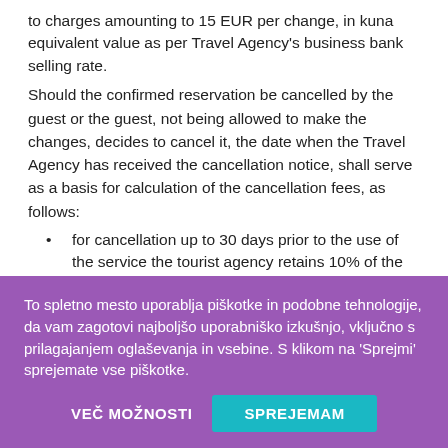to charges amounting to 15 EUR per change, in kuna equivalent value as per Travel Agency's business bank selling rate.
Should the confirmed reservation be cancelled by the guest or the guest, not being allowed to make the changes, decides to cancel it, the date when the Travel Agency has received the cancellation notice, shall serve as a basis for calculation of the cancellation fees, as follows:
for cancellation up to 30 days prior to the use of the service the tourist agency retains 10% of the price of the service/at least 15 EUR
for the cancellation taking place up to 22 days before…
To spletno mesto uporablja piškotke in podobne tehnologije, da vam zagotovi najboljšo uporabniško izkušnjo, vključno s prilagajanjem oglaševanja in vsebine. S klikom na 'Sprejmi' sprejemate vse piškotke.
VEČ MOŽNOSTI | SPREJEMAM